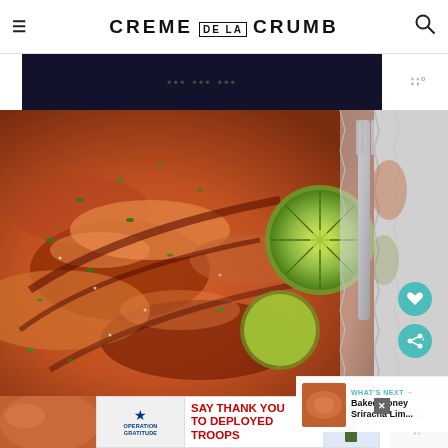CREME DE LA CRUMB
[Figure (photo): Close-up photo of grilled/baked salmon with charred edges, garnished with fresh cilantro and lime slices, served on foil, with a fork visible]
WHAT'S NEXT → Baked Honey Sriracha Lim...
[Figure (photo): Advertisement banner: Operation Gratitude - SAY THANK YOU TO DEPLOYED TROOPS, with star graphics and a cartoon soldier figure]